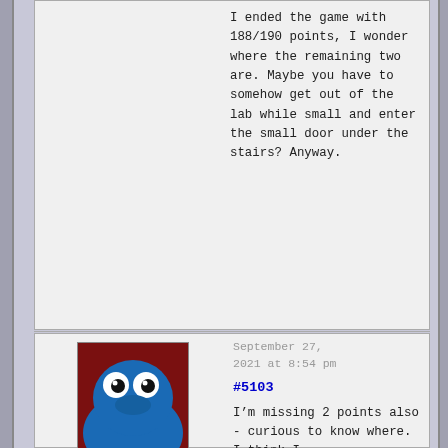I ended the game with 188/190 points, I wonder where the remaining two are. Maybe you have to somehow get out of the lab while small and enter the small door under the stairs? Anyway.
September 27, 2021 at 8:54 pm
#5103
[Figure (photo): Avatar photo of a blue muppet/puppet character (resembling Cookie Monster) with large googly eyes against a dark red/maroon background]
Pix Participant
I'm missing 2 points also - curious to know where. I think I